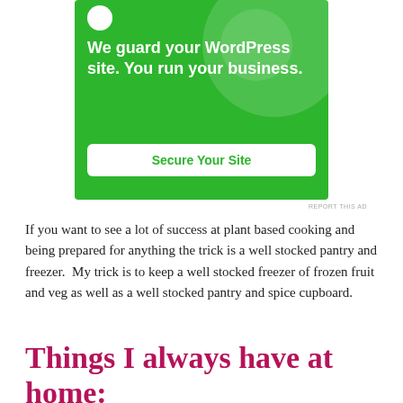[Figure (other): Green advertisement banner for WordPress security service. Text reads: 'We guard your WordPress site. You run your business.' with a 'Secure Your Site' button.]
REPORT THIS AD
If you want to see a lot of success at plant based cooking and being prepared for anything the trick is a well stocked pantry and freezer.  My trick is to keep a well stocked freezer of frozen fruit and veg as well as a well stocked pantry and spice cupboard.
Things I always have at home: